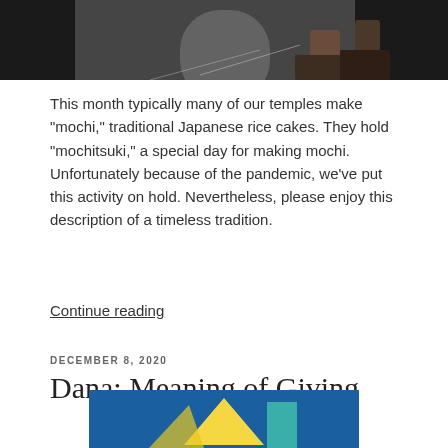[Figure (photo): Top portion of a photo showing a concrete floor with chalk lines and a person's feet/legs visible, dark background]
This month typically many of our temples make “mochi,” traditional Japanese rice cakes. They hold “mochitsuki,” a special day for making mochi. Unfortunately because of the pandemic, we’ve put this activity on hold. Nevertheless, please enjoy this description of a timeless tradition.
Continue reading
DECEMBER 8, 2020
Dana: Meaning of Giving
[Figure (photo): Bottom portion of a photo showing a blue background with a yellow triangular shape and teal rounded shape, partial view]